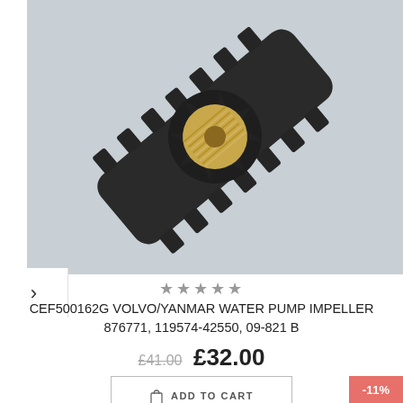[Figure (photo): Close-up photo of a black rubber water pump impeller with brass/gold center insert, on a gray background]
★★★★★
CEF500162G VOLVO/YANMAR WATER PUMP IMPELLER 876771, 119574-42550, 09-821 B
£41.00  £32.00
ADD TO CART
-11%